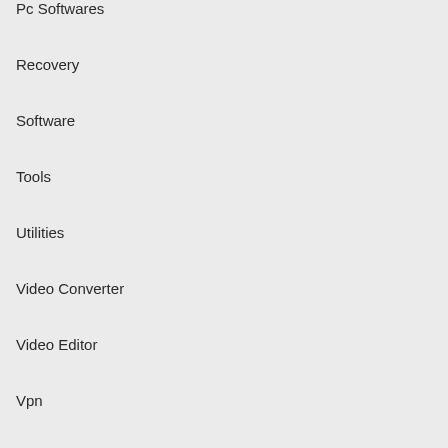Pc Softwares
Recovery
Software
Tools
Utilities
Video Converter
Video Editor
Vpn